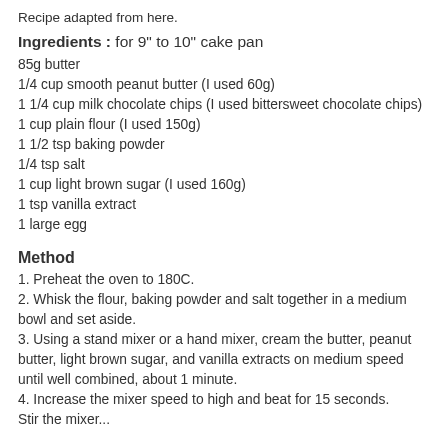Recipe adapted from here.
Ingredients : for 9" to 10" cake pan
85g butter
1/4 cup smooth peanut butter (I used 60g)
1 1/4 cup milk chocolate chips (I used bittersweet chocolate chips)
1 cup plain flour (I used 150g)
1 1/2 tsp baking powder
1/4 tsp salt
1 cup light brown sugar (I used 160g)
1 tsp vanilla extract
1 large egg
Method
1. Preheat the oven to 180C.
2. Whisk the flour, baking powder and salt together in a medium bowl and set aside.
3. Using a stand mixer or a hand mixer, cream the butter, peanut butter, light brown sugar, and vanilla extracts on medium speed until well combined, about 1 minute.
4. Increase the mixer speed to high and beat for 15 seconds.
Stir the mixer...